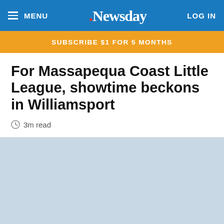MENU | .Newsday | LOG IN
SUBSCRIBE $1 FOR 5 MONTHS
For Massapequa Coast Little League, showtime beckons in Williamsport
3m read
[Figure (other): Article image placeholder (light blue-gray area)]
[Figure (other): Digital Crossword ad banner with Play Now button and Newsday logo]